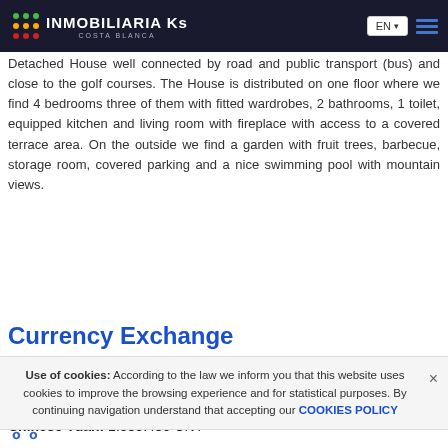Description
INMOBILIARIA Ks COSTA BLANCA | EN
Detached House well connected by road and public transport (bus) and close to the golf courses. The House is distributed on one floor where we find 4 bedrooms three of them with fitted wardrobes, 2 bathrooms, 1 toilet, equipped kitchen and living room with fireplace with access to a covered terrace area. On the outside we find a garden with fruit trees, barbecue, storage room, covered parking and a nice swimming pool with mountain views.
Currency Exchange
Pounds: 196.127 GBP
Russian Ruble: 0 RUB
Swiss Franc: 223.069 CHF
Chinese Yuan: 1.585.436 CNY
Use of cookies: According to the law we inform you that this website uses cookies to improve the browsing experience and for statistical purposes. By continuing navigation understand that accepting our COOKIES POLICY